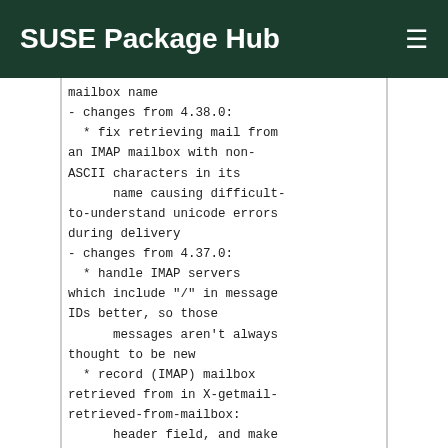SUSE Package Hub
mailbox name
- changes from 4.38.0:
  * fix retrieving mail from an IMAP mailbox with non-ASCII characters in its
      name causing difficult-to-understand unicode errors during delivery
- changes from 4.37.0:
  * handle IMAP servers which include "/" in message IDs better, so those
      messages aren't always thought to be new
  * record (IMAP) mailbox retrieved from in X-getmail-retrieved-from-mailbox:
      header field, and make it available as %(mailbox) substitution in
      MDA_external arguments
  * add delete_bigger_than option to allow removal of large messages after
      retrieval, even if not deleting messages otherwise
- changes from 4.36.0:
  * add support for retrieving POP/IMAP passwords from, and storing them to,
      the Gnome keyring
- changes from 4.35.0:
  * fix From_ quoting in